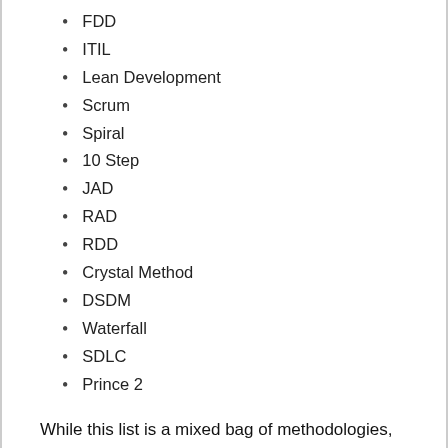FDD
ITIL
Lean Development
Scrum
Spiral
10 Step
JAD
RAD
RDD
Crystal Method
DSDM
Waterfall
SDLC
Prince 2
While this list is a mixed bag of methodologies, frameworks, etc. my general advice is as follows to everyone who may be getting overwhelmed by the multitude of routes to “get agile”...